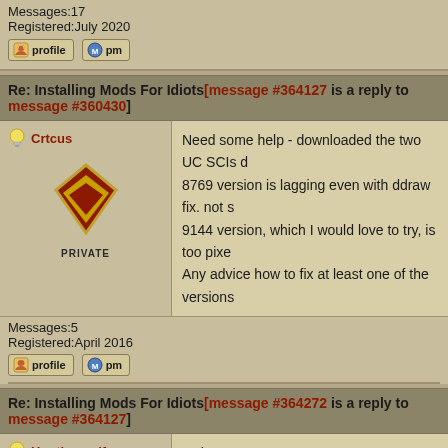Messages:17
Registered:July 2020
[Figure (screenshot): Profile and PM buttons for first user]
Re: Installing Mods For Idiots [message #364127 is a reply to message #360430]
Crtcus
[Figure (illustration): Private rank badge - dark red diamond/chevron shape with gold outline on tan background, labeled PRIVATE]
Messages:5
Registered:April 2016
[Figure (screenshot): Profile and PM buttons for Crtcus]
Need some help - downloaded the two UC SCIs d
8769 version is lagging even with ddraw fix. not s
9144 version, which I would love to try, is too pixe
Any advice how to fix at least one of the versions
Re: Installing Mods For Idiots [message #364272 is a reply to message #364127]
Huntingwolf
Messages:1
Registered:February 2022
Is there a way To merge Weapons From one Mod
I like some more Weapons/Launchers from Amin
Sadly some Features From the new 1.13 are mis
No Stocks And Radio Are Mh in Aminro Or Pho...